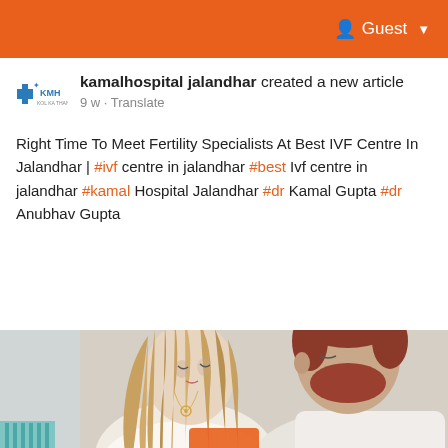Guest
kamalhospital jalandhar created a new article
9 w - Translate
Right Time To Meet Fertility Specialists At Best IVF Centre In Jalandhar | #ivf centre in jalandhar #best Ivf centre in jalandhar #kamal Hospital Jalandhar #dr Kamal Gupta #dr Anubhav Gupta
[Figure (photo): A couple sitting back-to-back, woman with long blonde hair wearing white top, man with red beard wearing white t-shirt, indoor setting]